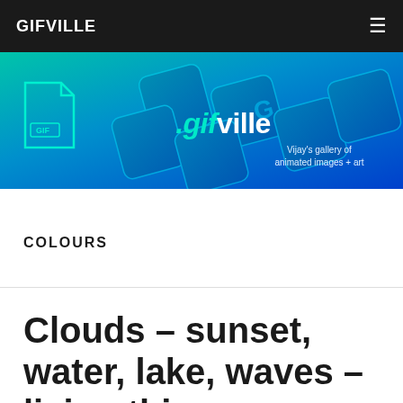GIFVILLE
[Figure (illustration): Banner image of keyboard keys with teal-to-blue gradient background. Shows a GIF file icon on the left and the text '.gifville' and 'Vijay's gallery of animated images + art' on the right.]
COLOURS
Clouds – sunset, water, lake, waves – living things